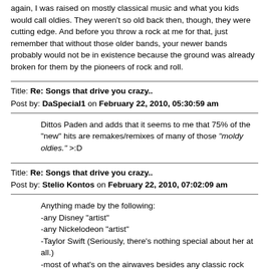again, I was raised on mostly classical music and what you kids would call oldies. They weren't so old back then, though, they were cutting edge. And before you throw a rock at me for that, just remember that without those older bands, your newer bands probably would not be in existence because the ground was already broken for them by the pioneers of rock and roll.
Title: Re: Songs that drive you crazy.. Post by: DaSpecial1 on February 22, 2010, 05:30:59 am
Dittos Paden and adds that it seems to me that 75% of the "new" hits are remakes/remixes of many of those "moldy oldies." >:D
Title: Re: Songs that drive you crazy.. Post by: Stelio Kontos on February 22, 2010, 07:02:09 am
Anything made by the following:
-any Disney "artist"
-any Nickelodeon "artist"
-Taylor Swift (Seriously, there's nothing special about her at all.)
-most of what's on the airwaves besides any classic rock stations
Title: Re: Songs that drive you crazy..